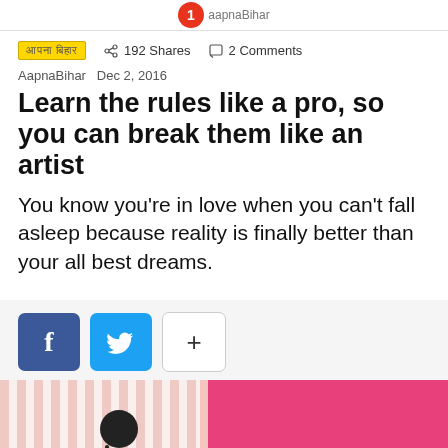AapnaBihar
आपना बिहार  192 Shares  2 Comments
AapnaBihar  Dec 2, 2016
Learn the rules like a pro, so you can break them like an artist
You know you're in love when you can't fall asleep because reality is finally better than your all best dreams.
[Figure (infographic): Social share buttons: Facebook (blue square with f), Twitter (light blue square with bird), and a + button]
[Figure (photo): Photo of a person wearing a pink striped shirt against a pink background, partially cropped]